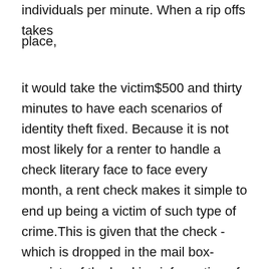individuals per minute. When a rip offs takes place,
it would take the victim$500 and thirty minutes to have each scenarios of identity theft fixed. Because it is not most likely for a renter to handle a check literary face to face every month, a rent check makes it simple to end up being a victim of such type of crime.This is given that the check -which is dropped in the mail box- consists of the banking information of the renter made up on it. Similarly, when a resident's savings account is drained due to fraud, this will end up being a concern. Due to its preventative measure, gathering lease online makes sure that nobody is at risk.Improvement of Tenant-Landlord Relations When it pertains to sales, the agent who seals the deal and wins the client over is seldom the exact very same individual who gathers the payment. This avoids a